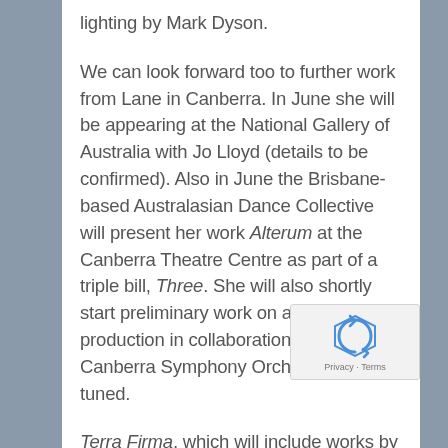lighting by Mark Dyson.
We can look forward too to further work from Lane in Canberra. In June she will be appearing at the National Gallery of Australia with Jo Lloyd (details to be confirmed). Also in June the Brisbane-based Australasian Dance Collective will present her work Alterum at the Canberra Theatre Centre as part of a triple bill, Three. She will also shortly start preliminary work on a future production in collaboration with the Canberra Symphony Orchestra. Stay tuned.
Terra Firma, which will include works by Cadi…